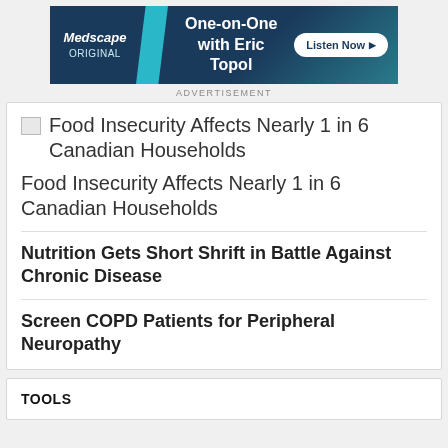[Figure (other): Medscape advertisement banner: 'One-on-One with Eric Topol' with Listen Now button]
ADVERTISEMENT
Food Insecurity Affects Nearly 1 in 6 Canadian Households
Food Insecurity Affects Nearly 1 in 6 Canadian Households
Nutrition Gets Short Shrift in Battle Against Chronic Disease
Screen COPD Patients for Peripheral Neuropathy
TOOLS